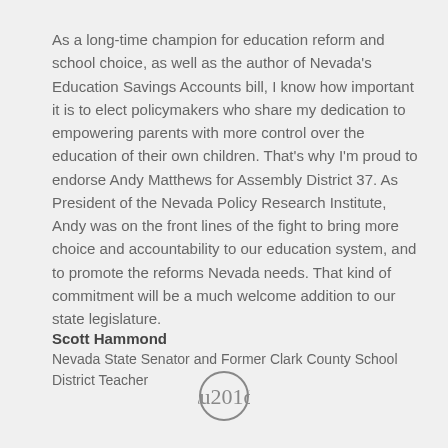As a long-time champion for education reform and school choice, as well as the author of Nevada’s Education Savings Accounts bill, I know how important it is to elect policymakers who share my dedication to empowering parents with more control over the education of their own children. That’s why I’m proud to endorse Andy Matthews for Assembly District 37. As President of the Nevada Policy Research Institute, Andy was on the front lines of the fight to bring more choice and accountability to our education system, and to promote the reforms Nevada needs. That kind of commitment will be a much welcome addition to our state legislature.
Scott Hammond
Nevada State Senator and Former Clark County School District Teacher
[Figure (illustration): Closing double quotation mark icon inside a circle]